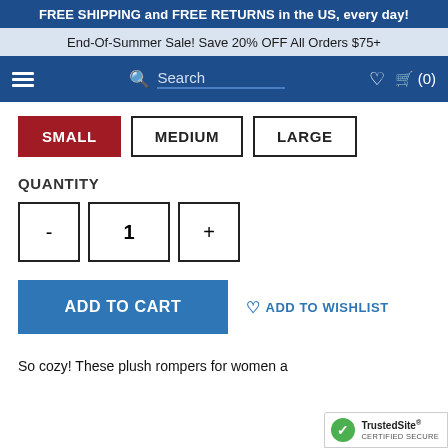FREE SHIPPING and FREE RETURNS in the US, every day!
End-Of-Summer Sale! Save 20% OFF All Orders $75+
Search  (0)
SMALL  MEDIUM  LARGE
QUANTITY
- 1 +
ADD TO CART   ADD TO WISHLIST
So cozy! These plush rompers for women a